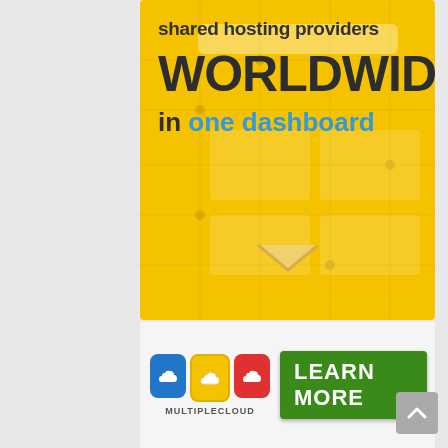[Figure (infographic): Yellow banner advertisement for MultipleCloud service showing 'shared hosting providers WORLDWIDE in one dashboard' text on a yellow background with grid UI mockup overlay and a chevron arrow]
[Figure (logo): MultipleCloud logo: three colored rounded rectangles (blue, yellow, red) each with a cloud icon, and 'MULTIPLECLOUD' text below]
LEARN MORE